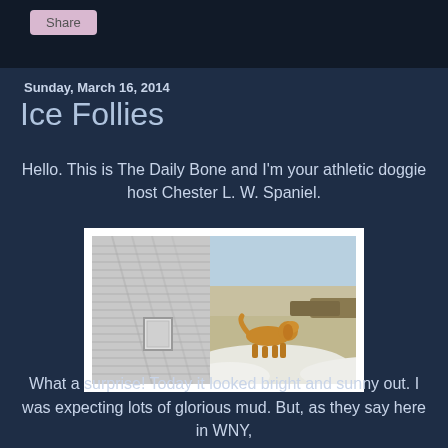Share
Sunday, March 16, 2014
Ice Follies
Hello. This is The Daily Bone and I'm your athletic doggie host Chester L. W. Spaniel.
[Figure (photo): A golden dog walking outside a house with a pet door, snow patches on the ground, dark evergreen trees in the background, sunny winter day.]
What a surprise! Today it looked bright and sunny out. I was expecting lots of glorious mud. But, as they say here in WNY,